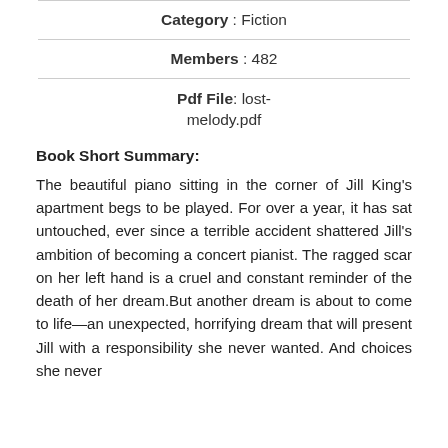Category : Fiction
Members : 482
Pdf File: lost-melody.pdf
Book Short Summary:
The beautiful piano sitting in the corner of Jill King's apartment begs to be played. For over a year, it has sat untouched, ever since a terrible accident shattered Jill's ambition of becoming a concert pianist. The ragged scar on her left hand is a cruel and constant reminder of the death of her dream.But another dream is about to come to life—an unexpected, horrifying dream that will present Jill with a responsibility she never wanted. And choices she never